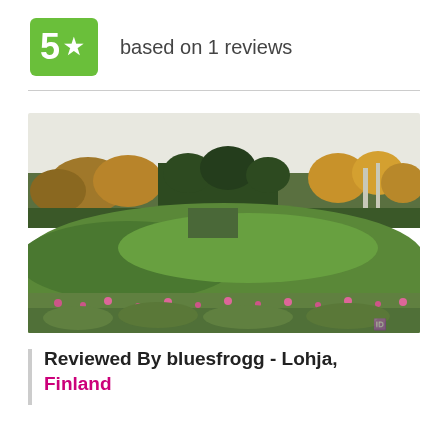5 ★ based on 1 reviews
[Figure (photo): Outdoor autumn landscape photo showing green rolling fields in the foreground with wildflowers, a treeline of mixed autumn-colored (green, yellow, orange) deciduous and conifer trees in the background under a bright overcast sky.]
Reviewed By bluesfrogg - Lohja, Finland